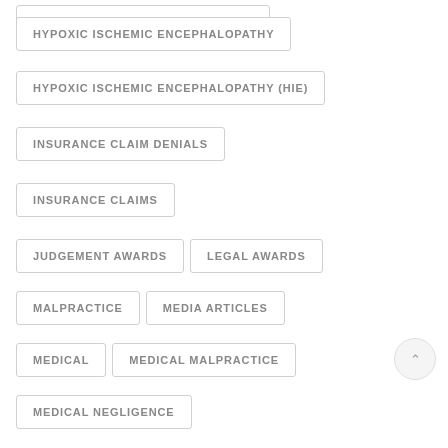HYPOXIC ISCHEMIC ENCEPHALOPATHY
HYPOXIC ISCHEMIC ENCEPHALOPATHY (HIE)
INSURANCE CLAIM DENIALS
INSURANCE CLAIMS
JUDGEMENT AWARDS
LEGAL AWARDS
MALPRACTICE
MEDIA ARTICLES
MEDICAL
MEDICAL MALPRACTICE
MEDICAL NEGLIGENCE
MEDICATION ERRORS
MED MAL
MOTORCYCLE ACCIDENT
NEGLIGENCE